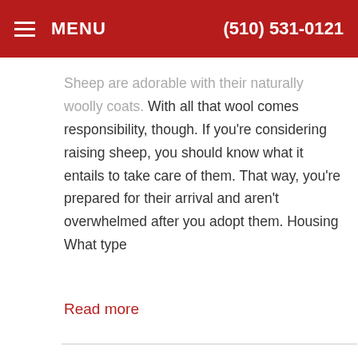MENU   (510) 531-0121
Sheep are adorable with their naturally woolly coats. With all that wool comes responsibility, though. If you're considering raising sheep, you should know what it entails to take care of them. That way, you're prepared for their arrival and aren't overwhelmed after you adopt them. Housing What type
Read more
< LIVESTOCK
COWS
DONKEYS, HORSES & MULES